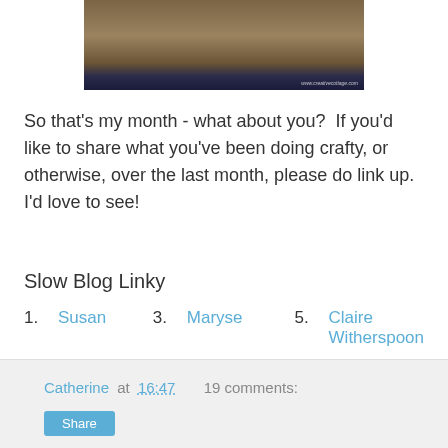[Figure (photo): Photo of feet standing on a woven/textured surface (mat or rug), viewed from above. Watermark visible bottom-right.]
So that's my month - what about you?  If you'd like to share what you've been doing crafty, or otherwise, over the last month, please do link up. I'd love to see!
Slow Blog Linky
1. Susan
2. Sharron
3. Maryse
4. Esther @ squeezequilts
5. Claire Witherspoon
(Cannot add links: Registration/trial expired)
Catherine at 16:47   19 comments: